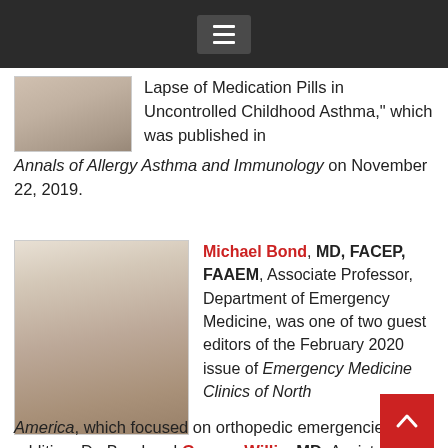[Navigation menu bar with hamburger icon]
Lapse of Medication Pills in Uncontrolled Childhood Asthma,” which was published in Annals of Allergy Asthma and Immunology on November 22, 2019.
[Figure (photo): Headshot photo of a woman]
[Figure (photo): Headshot photo of Michael Bond, MD in white coat]
Michael Bond, MD, FACEP, FAAEM, Associate Professor, Department of Emergency Medicine, was one of two guest editors of the February 2020 issue of Emergency Medicine Clinics of North America, which focused on orthopedic emergencies. In addition, Dr. Bond and George Willis, MD, Assistant Professor, also from the Department of Emergency Medicine, were the authors of “Risk Management and Avoiding Legal Pitfalls in the Emergency Treatment of High-Risk Orthopedic Injuries,” which was published in the same